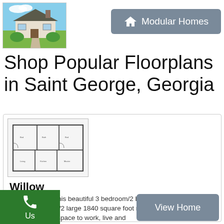[Figure (photo): Exterior photo of a craftsman-style house with green landscaping]
[Figure (other): Modular Homes button with house icon]
Shop Popular Floorplans in Saint George, Georgia
[Figure (engineering-diagram): Floorplan blueprint of the Willow double wide home]
Willow
Come home to this beautiful 3 bedroom/2 bath double wide home everyday! This 3/2 large 1840 square foot manufactured home provides ample space to work, live and
[Figure (other): View Home button]
[Figure (other): Call Us green button with phone icon]